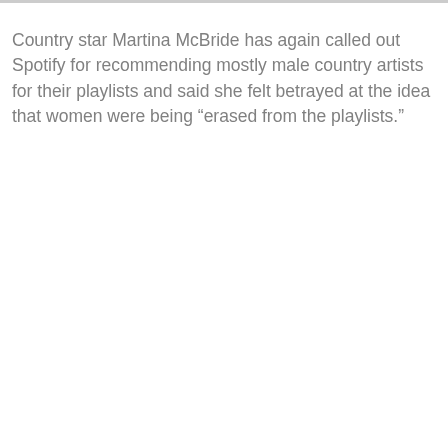Country star Martina McBride has again called out Spotify for recommending mostly male country artists for their playlists and said she felt betrayed at the idea that women were being “erased from the playlists.”